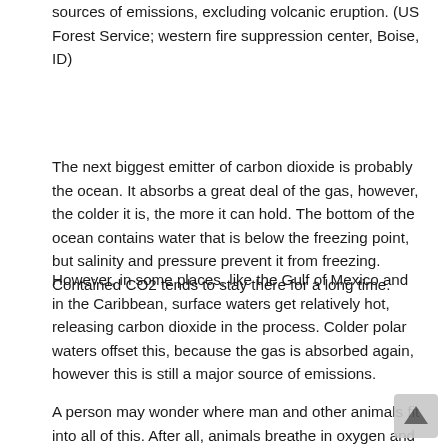sources of emissions, excluding volcanic eruption. (US Forest Service; western fire suppression center, Boise, ID)
The next biggest emitter of carbon dioxide is probably the ocean. It absorbs a great deal of the gas, however, the colder it is, the more it can hold. The bottom of the ocean contains water that is below the freezing point, but salinity and pressure prevent it from freezing. Contained CO2 tends to stay there for a long time.
However, in some places, like the Gulf of Mexico and in the Caribbean, surface waters get relatively hot, releasing carbon dioxide in the process. Colder polar waters offset this, because the gas is absorbed again, however this is still a major source of emissions.
A person may wonder where man and other animals fit into all of this. After all, animals breathe in oxygen and breath out carbon dioxide. Their bodies also contain CO2 and carbon, which is released when they die and decompose. Man also burns fossil fuels, which does release CO2 as a byproduct. However, animals including man don't